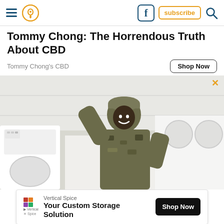Navigation header with hamburger menu, location pin icon, Facebook icon, subscribe button, search icon
Tommy Chong: The Horrendous Truth About CBD
Tommy Chong's CBD
[Figure (photo): A person in military camouflage uniform and cap leaning against commercial washing machines in a laundromat, smiling at the camera]
[Figure (infographic): Advertisement banner for Vertical Spice: logo with play icon, text 'Vertical Spice - Your Custom Storage Solution', black Shop Now button]